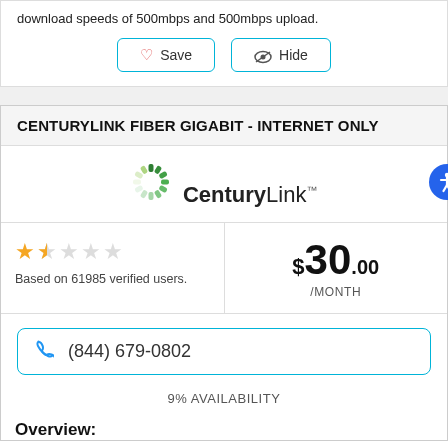download speeds of 500mbps and 500mbps upload.
Save  Hide
CENTURYLINK FIBER GIGABIT - INTERNET ONLY
[Figure (logo): CenturyLink logo with green radial sunburst icon]
Based on 61985 verified users.
$30.00 /MONTH
(844) 679-0802
9% AVAILABILITY
Overview: